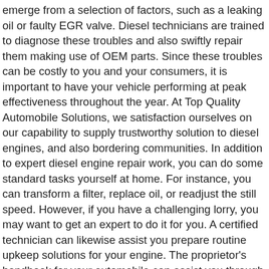emerge from a selection of factors, such as a leaking oil or faulty EGR valve. Diesel technicians are trained to diagnose these troubles and also swiftly repair them making use of OEM parts. Since these troubles can be costly to you and your consumers, it is important to have your vehicle performing at peak effectiveness throughout the year. At Top Quality Automobile Solutions, we satisfaction ourselves on our capability to supply trustworthy solution to diesel engines, and also bordering communities. In addition to expert diesel engine repair work, you can do some standard tasks yourself at home. For instance, you can transform a filter, replace oil, or readjust the still speed. However, if you have a challenging lorry, you may want to get an expert to do it for you. A certified technician can likewise assist you prepare routine upkeep solutions for your engine. The proprietor's handbook for your automobile can assist you through the procedure of selecting the ideal solution for your vehicle. You may be experiencing issues with starting and power delivery, too much noise, or oil consumption. If these signs and symptoms are troubling you, it is very important to schedule an appointment with a diesel technician. These technicians will certainly detect as well as